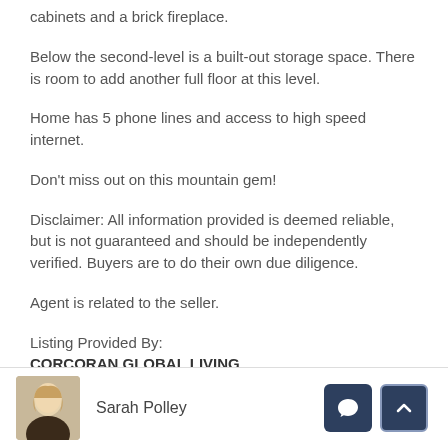cabinets and a brick fireplace.
Below the second-level is a built-out storage space. There is room to add another full floor at this level.
Home has 5 phone lines and access to high speed internet.
Don't miss out on this mountain gem!
Disclaimer: All information provided is deemed reliable, but is not guaranteed and should be independently verified. Buyers are to do their own due diligence.
Agent is related to the seller.
Listing Provided By:
CORCORAN GLOBAL LIVING
Sarah Polley